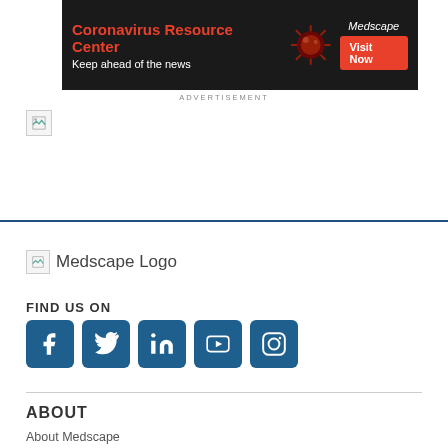[Figure (infographic): Medscape advertisement banner: 'Coronavirus Resource Center - Keep ahead of the news' with a Visit Now button on dark background]
ADVERTISEMENT
[Figure (photo): Broken image placeholder icon]
[Figure (logo): Medscape Logo placeholder]
FIND US ON
[Figure (infographic): Social media icons: Facebook, Twitter, LinkedIn, YouTube, Instagram]
ABOUT
About Medscape